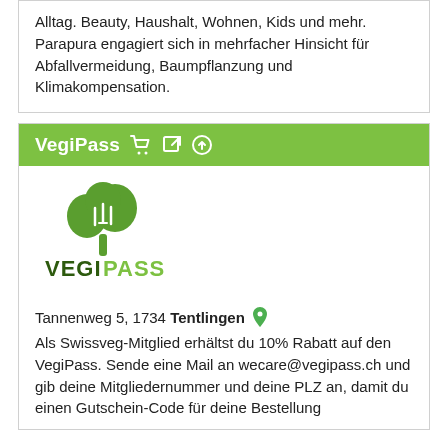Alltag. Beauty, Haushalt, Wohnen, Kids und mehr. Parapura engagiert sich in mehrfacher Hinsicht für Abfallvermeidung, Baumpflanzung und Klimakompensation.
VegiPass 🛒 ↗ ⬆
[Figure (logo): VegiPass logo: green broccoli/tree shape with fork tines, text VEGIPASS in dark and green letters]
Tannenweg 5, 1734 Tentlingen
Als Swissveg-Mitglied erhältst du 10% Rabatt auf den VegiPass. Sende eine Mail an wecare@vegipass.ch und gib deine Mitgliedernummer und deine PLZ an, damit du einen Gutschein-Code für deine Bestellung erhältst.